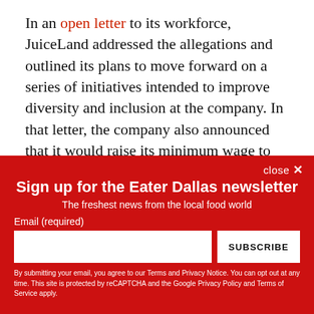In an open letter to its workforce, JuiceLand addressed the allegations and outlined its plans to move forward on a series of initiatives intended to improve diversity and inclusion at the company. In that letter, the company also announced that it would raise its minimum wage to $15 per hour for employees who receive tips, and $17 per hour for the back-of-house employees that prepare the ingredients that go into JuiceLand's pricey smoothies.
close ×
Sign up for the Eater Dallas newsletter
The freshest news from the local food world
Email (required)
SUBSCRIBE
By submitting your email, you agree to our Terms and Privacy Notice. You can opt out at any time. This site is protected by reCAPTCHA and the Google Privacy Policy and Terms of Service apply.